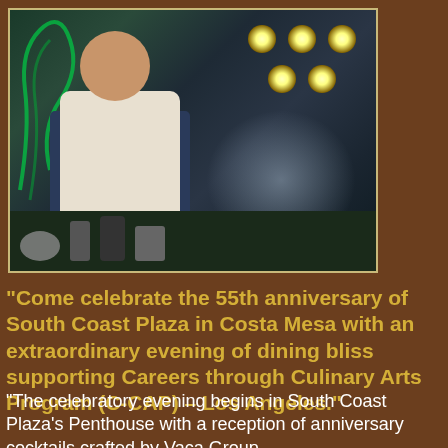[Figure (photo): A chef in a white jacket and dark apron cooking with dramatic smoke/steam effects, stage lights visible in the background on a dark stage-like setting.]
“Come celebrate the 55th anniversary of South Coast Plaza in Costa Mesa with an extraordinary evening of dining bliss supporting Careers through Culinary Arts Program (C-CAP) – Los Angeles.”
“The celebratory evening begins in South Coast Plaza’s Penthouse with a reception of anniversary cocktails crafted by Vaca Group